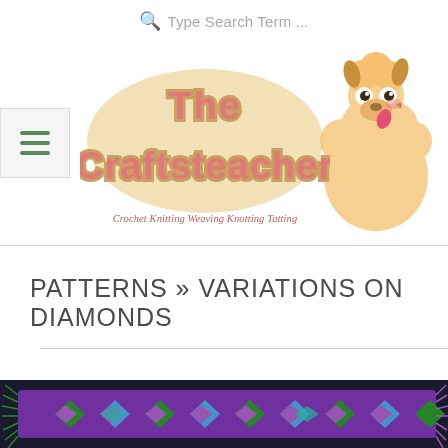Type Search Term ...
[Figure (logo): The Craftsteacher logo with decorative rounded font in coral/pink color on a tan textured background, with tagline 'Crochet Knitting Weaving Knotting Tatting' in italic coral text]
[Figure (illustration): Cartoon alpaca illustration with fluffy cream/tan wool, big eyes, pink tongue out, tan ears]
PATTERNS » VARIATIONS ON DIAMONDS
[Figure (photo): Friendship bracelet with diamond pattern in purple, green, blue, and teal colors with fringe ends]